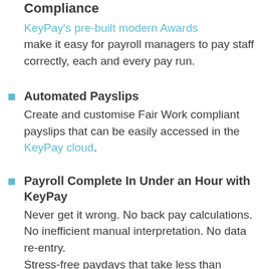Automated Modern Awards Compliance
KeyPay's pre-built modern Awards make it easy for payroll managers to pay staff correctly, each and every pay run.
Automated Payslips
Create and customise Fair Work compliant payslips that can be easily accessed in the KeyPay cloud.
Payroll Complete In Under an Hour with KeyPay
Never get it wrong. No back pay calculations. No inefficient manual interpretation. No data re-entry. Stress-free paydays that take less than